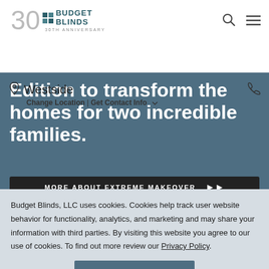[Figure (logo): Budget Blinds 30th Anniversary logo with square icon grid]
Westside
Change Location | Get Contact Info
Edition to transform the homes for two incredible families.
MORE ABOUT EXTREME MAKEOVER
Budget Blinds, LLC uses cookies. Cookies help track user website behavior for functionality, analytics, and marketing and may share your information with third parties. By visiting this website you agree to our use of cookies. To find out more review our Privacy Policy.
ACCEPT